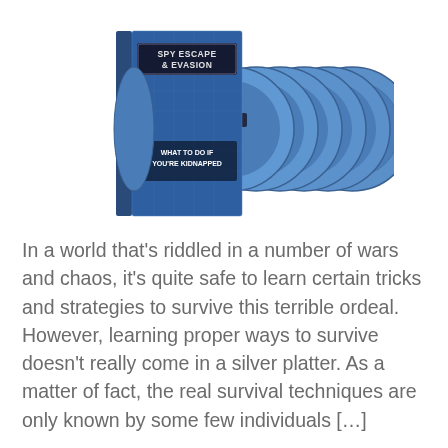[Figure (illustration): A DVD set titled 'Spy Escape & Evasion' with text 'What to do if you're kidnapped' on the case. Multiple blue CDs fanned out behind the case.]
In a world that's riddled in a number of wars and chaos, it's quite safe to learn certain tricks and strategies to survive this terrible ordeal. However, learning proper ways to survive doesn't really come in a silver platter. As a matter of fact, the real survival techniques are only known by some few individuals […]